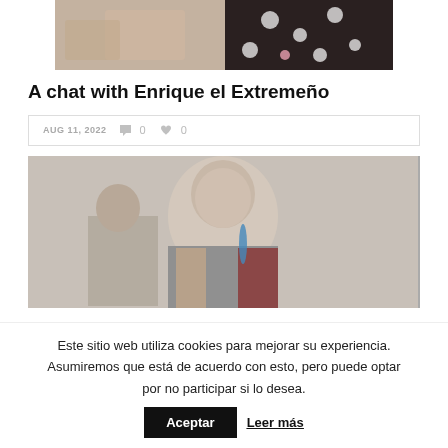[Figure (photo): Cropped photo showing hands gesturing, person wearing polka dot clothing]
A chat with Enrique el Extremeño
AUG 11, 2022  💬 0  ❤ 0
[Figure (photo): Photo of an elderly man with white beard smiling, wearing a floral vest and blue scarf, holding a guitar]
Este sitio web utiliza cookies para mejorar su experiencia. Asumiremos que está de acuerdo con esto, pero puede optar por no participar si lo desea.
Aceptar
Leer más